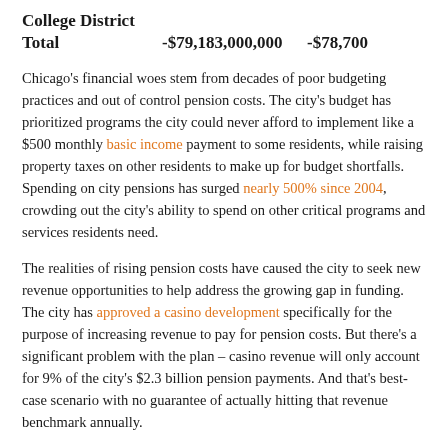College District
Total   -$79,183,000,000   -$78,700
Chicago's financial woes stem from decades of poor budgeting practices and out of control pension costs. The city's budget has prioritized programs the city could never afford to implement like a $500 monthly basic income payment to some residents, while raising property taxes on other residents to make up for budget shortfalls. Spending on city pensions has surged nearly 500% since 2004, crowding out the city's ability to spend on other critical programs and services residents need.
The realities of rising pension costs have caused the city to seek new revenue opportunities to help address the growing gap in funding. The city has approved a casino development specifically for the purpose of increasing revenue to pay for pension costs. But there's a significant problem with the plan – casino revenue will only account for 9% of the city's $2.3 billion pension payments. And that's best-case scenario with no guarantee of actually hitting that revenue benchmark annually.